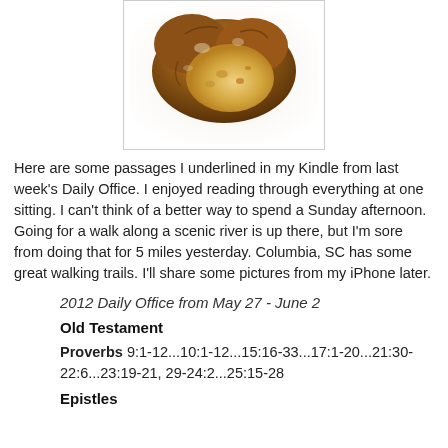[Figure (photo): Photo of a piece of bread, heart-shaped, on white background, inside a bordered box]
Here are some passages I underlined in my Kindle from last week's Daily Office. I enjoyed reading through everything at one sitting. I can't think of a better way to spend a Sunday afternoon. Going for a walk along a scenic river is up there, but I'm sore from doing that for 5 miles yesterday. Columbia, SC has some great walking trails. I'll share some pictures from my iPhone later.
2012 Daily Office from May 27 - June 2
Old Testament
Proverbs 9:1-12...10:1-12...15:16-33...17:1-20...21:30-22:6...23:19-21, 29-24:2...25:15-28
Epistles